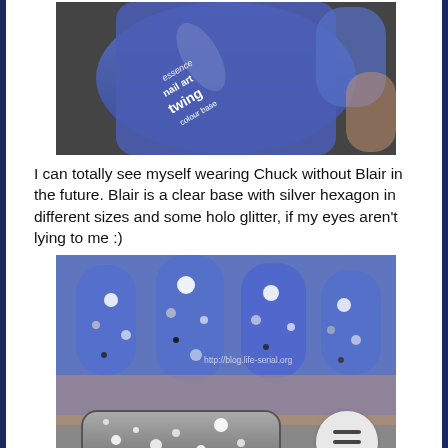[Figure (photo): Close-up photo of a blue nail polish bottle labeled 'essence nail art twing colour base' held near painted blue nails]
I can totally see myself wearing Chuck without Blair in the future. Blair is a clear base with silver hexagon in different sizes and some holo glitter, if my eyes aren't lying to me :)
[Figure (photo): Close-up photo of blue-painted nails with silver hexagon glitter and a glitter nail polish bottle in the foreground, watermark http://blog.life-serial.org visible]